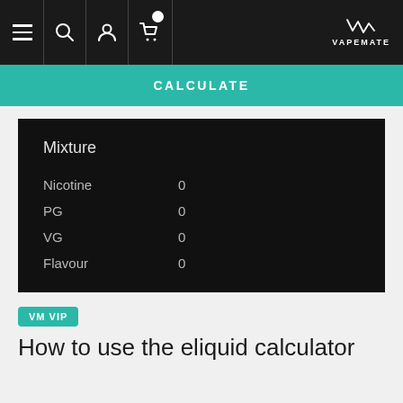VAPEMATE navigation bar with hamburger, search, profile, cart icons and VAPEMATE logo
CALCULATE
|  |  |
| --- | --- |
| Nicotine | 0 |
| PG | 0 |
| VG | 0 |
| Flavour | 0 |
VM VIP
How to use the eliquid calculator